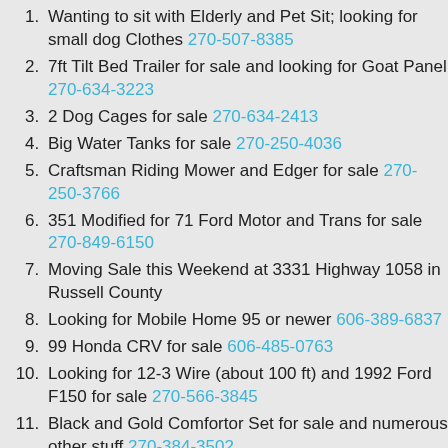Wanting to sit with Elderly and Pet Sit; looking for small dog Clothes 270-507-8385
7ft Tilt Bed Trailer for sale and looking for Goat Panel 270-634-3223
2 Dog Cages for sale 270-634-2413
Big Water Tanks for sale 270-250-4036
Craftsman Riding Mower and Edger for sale 270-250-3766
351 Modified for 71 Ford Motor and Trans for sale 270-849-6150
Moving Sale this Weekend at 3331 Highway 1058 in Russell County
Looking for Mobile Home 95 or newer 606-389-6837
99 Honda CRV for sale 606-485-0763
Looking for 12-3 Wire (about 100 ft) and 1992 Ford F150 for sale 270-566-3845
Black and Gold Comfortor Set for sale and numerous other stuff 270-384-3502
Riding Mowers, Weedeaters, Blowers and Pressure...